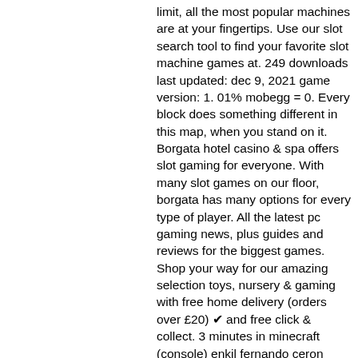limit, all the most popular machines are at your fingertips. Use our slot search tool to find your favorite slot machine games at. 249 downloads last updated: dec 9, 2021 game version: 1. 01% mobegg = 0. Every block does something different in this map, when you stand on it. Borgata hotel casino &amp; spa offers slot gaming for everyone. With many slot games on our floor, borgata has many options for every type of player. All the latest pc gaming news, plus guides and reviews for the biggest games. Shop your way for our amazing selection toys, nursery &amp; gaming with free home delivery (orders over £20) ✔ and free click &amp; collect. 3 minutes in minecraft (console) enkil fernando ceron alvarez (mex) collected 99 wood blocks at the legends of gaming event in london, uk, on 5 sep 2015 Builds which often contain pig randomisers include gambling machines and boss battles.